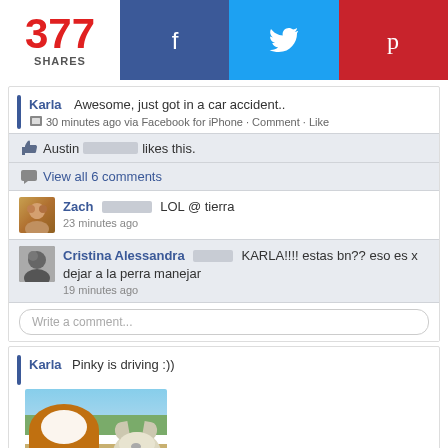[Figure (infographic): Share bar showing 377 SHARES with Facebook, Twitter, and Pinterest buttons]
[Figure (screenshot): Facebook post by Karla: 'Awesome, just got in a car accident..' posted 30 minutes ago via Facebook for iPhone. Austin likes this. View all 6 comments. Zach: LOL @ tierra (23 minutes ago). Cristina Alessandra: KARLA!!!! estas bn?? eso es x dejar a la perra manejar (19 minutes ago). Write a comment box.]
[Figure (screenshot): Facebook post by Karla: 'Pinky is driving :))' with a photo of a woman with blurred face and a white dog in a car]